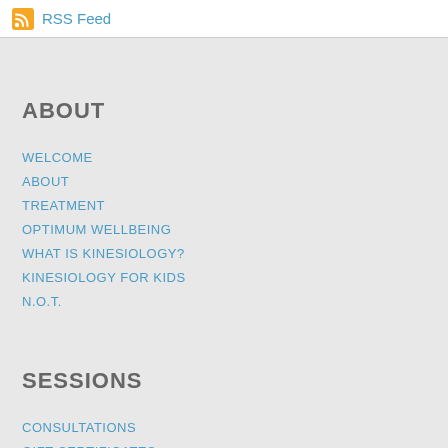RSS Feed
ABOUT
WELCOME
ABOUT
TREATMENT
OPTIMUM WELLBEING
WHAT IS KINESIOLOGY?
KINESIOLOGY FOR KIDS
N.O.T.
SESSIONS
CONSULTATIONS
GIFT CERTIFICATES
TESTIMONIALS
DISTANCE ACTIVATIONS